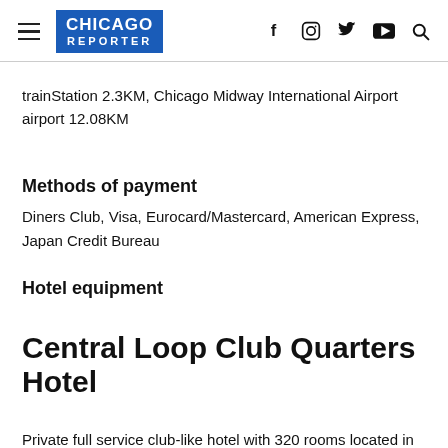CHICAGO REPORTER
trainStation 2.3KM, Chicago Midway International Airport airport 12.08KM
Methods of payment
Diners Club, Visa, Eurocard/Mastercard, American Express, Japan Credit Bureau
Hotel equipment
Central Loop Club Quarters Hotel
Private full service club-like hotel with 320 rooms located in the heart of Downtown Chicago Near LaSalle. It is a